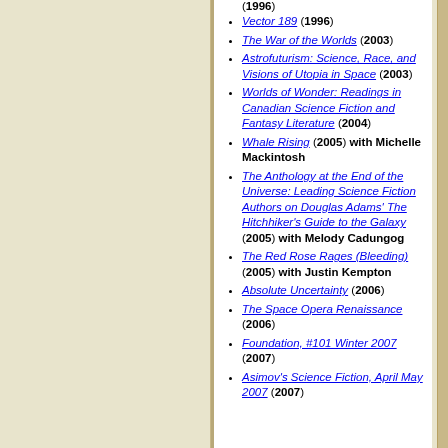Vector 189 (1996)
The War of the Worlds (2003)
Astrofuturism: Science, Race, and Visions of Utopia in Space (2003)
Worlds of Wonder: Readings in Canadian Science Fiction and Fantasy Literature (2004)
Whale Rising (2005) with Michelle Mackintosh
The Anthology at the End of the Universe: Leading Science Fiction Authors on Douglas Adams' The Hitchhiker's Guide to the Galaxy (2005) with Melody Cadungog
The Red Rose Rages (Bleeding) (2005) with Justin Kempton
Absolute Uncertainty (2006)
The Space Opera Renaissance (2006)
Foundation, #101 Winter 2007 (2007)
Asimov's Science Fiction, April May 2007 (2007)